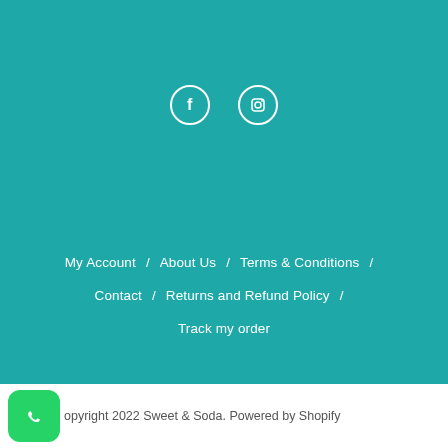[Figure (other): Social media icons: Facebook (f) and Instagram (camera icon), white on teal background]
My Account / About Us / Terms & Conditions /
Contact / Returns and Refund Policy /
Track my order
Copyright 2022 Sweet & Soda. Powered by Shopify